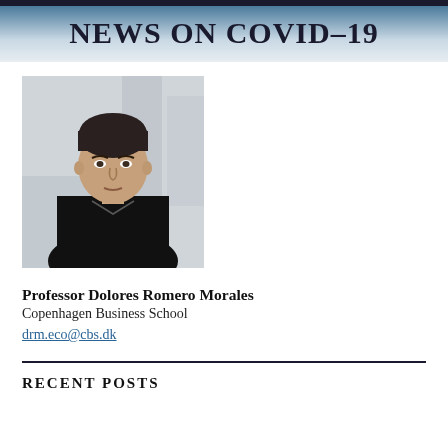NEWS ON COVID-19
[Figure (photo): Professional headshot of Professor Dolores Romero Morales, a woman with short dark hair wearing a black blazer, photographed in an indoor setting with blurred background.]
Professor Dolores Romero Morales
Copenhagen Business School
drm.eco@cbs.dk
RECENT POSTS